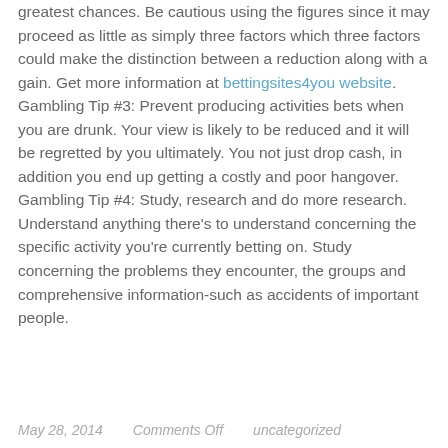greatest chances. Be cautious using the figures since it may proceed as little as simply three factors which three factors could make the distinction between a reduction along with a gain. Get more information at bettingsites4you website.
Gambling Tip #3: Prevent producing activities bets when you are drunk. Your view is likely to be reduced and it will be regretted by you ultimately. You not just drop cash, in addition you end up getting a costly and poor hangover.
Gambling Tip #4: Study, research and do more research. Understand anything there's to understand concerning the specific activity you're currently betting on. Study concerning the problems they encounter, the groups and comprehensive information-such as accidents of important people.
May 28, 2014    Comments Off    uncategorized